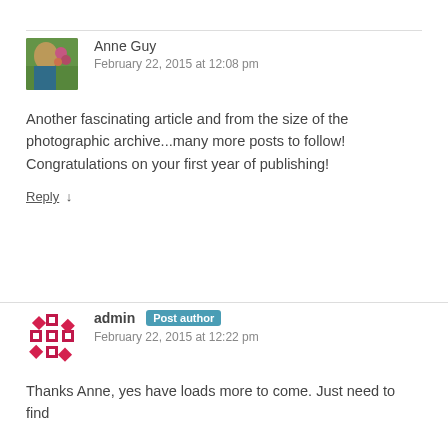[Figure (photo): Avatar photo of Anne Guy, showing a person in a garden with colorful flowers]
Anne Guy
February 22, 2015 at 12:08 pm
Another fascinating article and from the size of the photographic archive...many more posts to follow! Congratulations on your first year of publishing!
Reply ↓
[Figure (logo): Admin avatar showing a red/magenta snowflake/quilt pattern icon]
admin Post author
February 22, 2015 at 12:22 pm
Thanks Anne, yes have loads more to come. Just need to find the time...